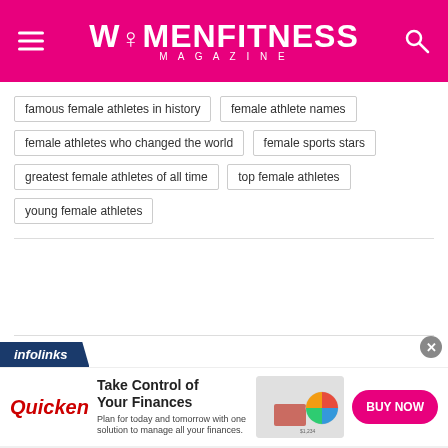WOMENFITNESS MAGAZINE
famous female athletes in history
female athlete names
female athletes who changed the world
female sports stars
greatest female athletes of all time
top female athletes
young female athletes
[Figure (screenshot): Infolinks advertisement banner with Quicken logo. Text: Take Control of Your Finances. Plan for today and tomorrow with one solution to manage all your finances. BUY NOW button. Image of woman at laptop with pie chart.]